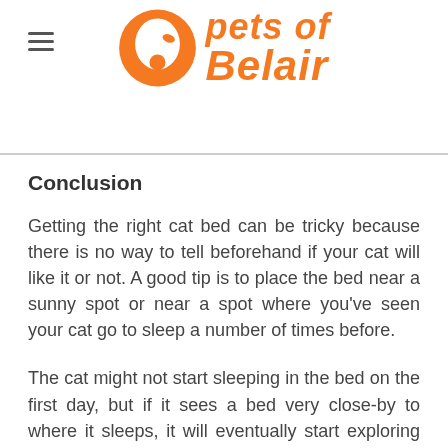Pets of Belair
Conclusion
Getting the right cat bed can be tricky because there is no way to tell beforehand if your cat will like it or not. A good tip is to place the bed near a sunny spot or near a spot where you've seen your cat go to sleep a number of times before.
The cat might not start sleeping in the bed on the first day, but if it sees a bed very close-by to where it sleeps, it will eventually start exploring it. That being said, if your cat